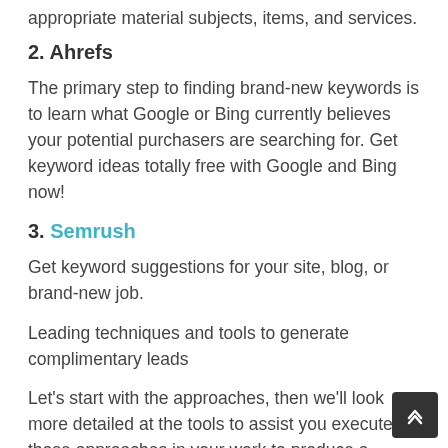appropriate material subjects, items, and services.
2. Ahrefs
The primary step to finding brand-new keywords is to learn what Google or Bing currently believes your potential purchasers are searching for. Get keyword ideas totally free with Google and Bing now!
3. Semrush
Get keyword suggestions for your site, blog, or brand-new job.
Leading techniques and tools to generate complimentary leads
Let's start with the approaches, then we'll look more detailed at the tools to assist you execute those approaches in your work to produce a consistent